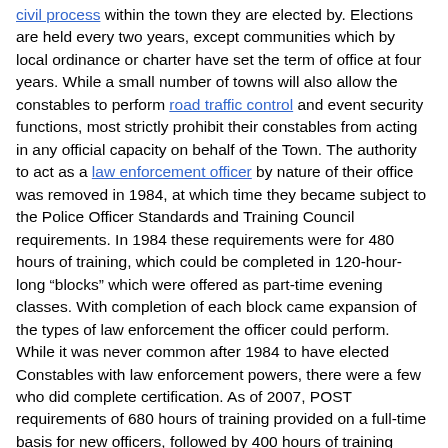civil process within the town they are elected by. Elections are held every two years, except communities which by local ordinance or charter have set the term of office at four years. While a small number of towns will also allow the constables to perform road traffic control and event security functions, most strictly prohibit their constables from acting in any official capacity on behalf of the Town. The authority to act as a law enforcement officer by nature of their office was removed in 1984, at which time they became subject to the Police Officer Standards and Training Council requirements. In 1984 these requirements were for 480 hours of training, which could be completed in 120-hour-long "blocks" which were offered as part-time evening classes. With completion of each block came expansion of the types of law enforcement the officer could perform. While it was never common after 1984 to have elected Constables with law enforcement powers, there were a few who did complete certification. As of 2007, POST requirements of 680 hours of training provided on a full-time basis for new officers, followed by 400 hours of training provided by a certified Field Training Officer make completing the requirements to be a law enforcement officer impractical for elected Constables.